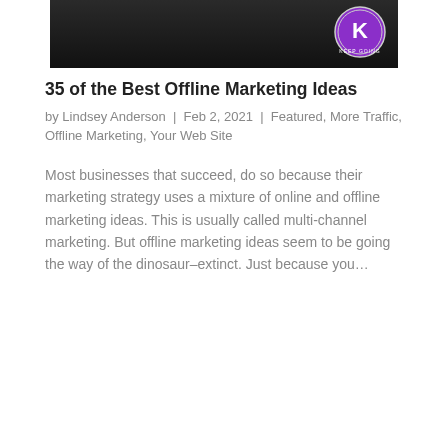[Figure (photo): Dark photograph showing a hand on a surface with a circular purple and white 'Keep Going' logo/badge in the upper right corner]
35 of the Best Offline Marketing Ideas
by Lindsey Anderson | Feb 2, 2021 | Featured, More Traffic, Offline Marketing, Your Web Site
Most businesses that succeed, do so because their marketing strategy uses a mixture of online and offline marketing ideas. This is usually called multi-channel marketing. But offline marketing ideas seem to be going the way of the dinosaur–extinct. Just because you…